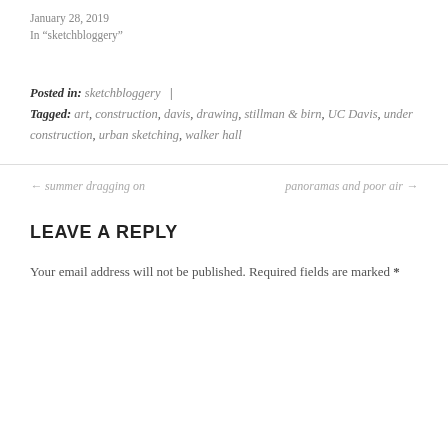January 28, 2019
In "sketchbloggery"
Posted in: sketchbloggery  |
Tagged: art, construction, davis, drawing, stillman & birn, UC Davis, under construction, urban sketching, walker hall
← summer dragging on
panoramas and poor air →
LEAVE A REPLY
Your email address will not be published. Required fields are marked *